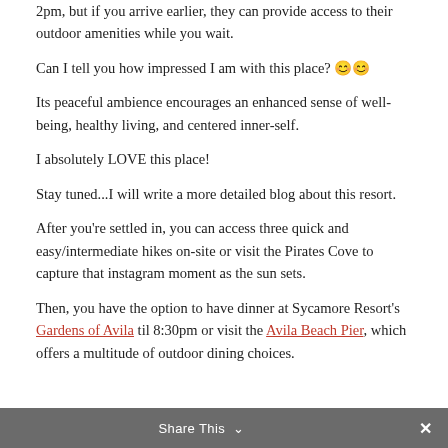2pm, but if you arrive earlier, they can provide access to their outdoor amenities while you wait.
Can I tell you how impressed I am with this place? 😊😊
Its peaceful ambience encourages an enhanced sense of well-being, healthy living, and centered inner-self.
I absolutely LOVE this place!
Stay tuned...I will write a more detailed blog about this resort.
After you're settled in, you can access three quick and easy/intermediate hikes on-site or visit the Pirates Cove to capture that instagram moment as the sun sets.
Then, you have the option to have dinner at Sycamore Resort's Gardens of Avila til 8:30pm or visit the Avila Beach Pier, which offers a multitude of outdoor dining choices.
Share This ∨  ✕